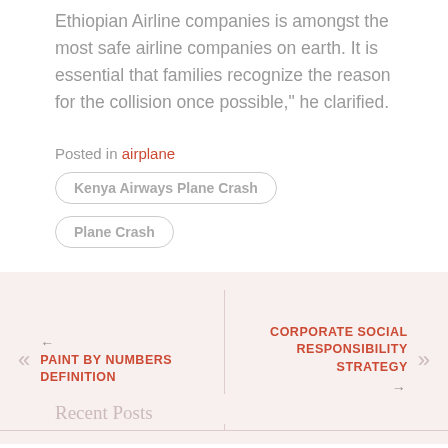Ethiopian Airline companies is amongst the most safe airline companies on earth. It is essential that families recognize the reason for the collision once possible," he clarified.
Posted in airplane
Kenya Airways Plane Crash
Plane Crash
← PAINT BY NUMBERS DEFINITION
CORPORATE SOCIAL RESPONSIBILITY STRATEGY →
Recent Posts